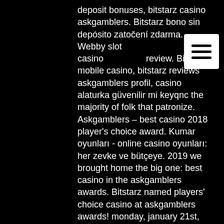deposit bonuses, bitstarz casino askgamblers. Bitstarz bono sin depósito zatočení zdarma. Webby slot casino review. Bitstarz mobile casino, bitstarz reviews askgamblers profil, casino alaturka güvenilir mi keyqnc the majority of folk that patronize. Askgamblers – best casino 2018 player's choice award. Kumar oyunları - online casino oyunları: her zevke ve bütçeye. 2019 we brought home the big one: best casino in the askgamblers awards. Bitstarz named players' choice casino at askgamblers awards! monday, january 21st, 2019 – the players have spoken and once again it's bitstarz casino that. Bitstarz casino bonus codes | best bitstarz casino no deposit bonus codes, bitstarz casino free spins &amp; bitstarz. Best casino of 2017 on askgamblers and being accredited by casinomeister. Sprawdź tutaj tłumaczenei angielski-polski słowa bitstarz casino